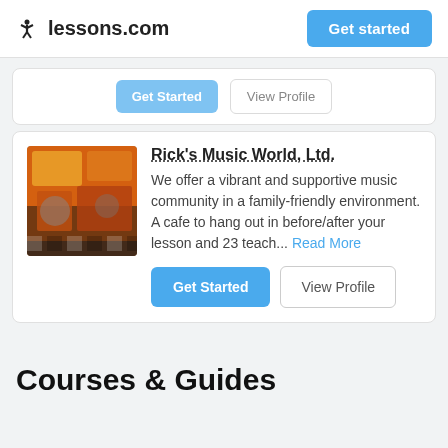lessons.com | Get started
[Figure (screenshot): Partial card with Get Started and View Profile buttons, cropped from top]
[Figure (photo): Colorful music store interior with instruments and merchandise]
Rick's Music World, Ltd.
We offer a vibrant and supportive music community in a family-friendly environment. A cafe to hang out in before/after your lesson and 23 teach... Read More
Courses & Guides